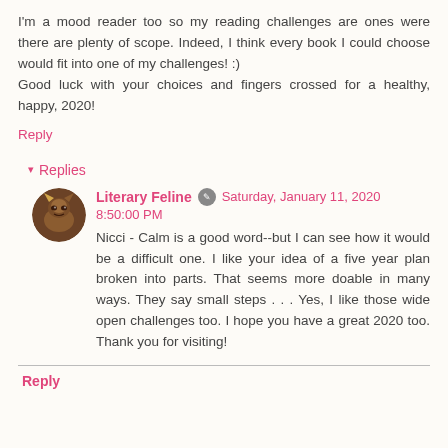I'm a mood reader too so my reading challenges are ones were there are plenty of scope. Indeed, I think every book I could choose would fit into one of my challenges! :) Good luck with your choices and fingers crossed for a healthy, happy, 2020!
Reply
▾ Replies
Literary Feline  Saturday, January 11, 2020 8:50:00 PM
Nicci - Calm is a good word--but I can see how it would be a difficult one. I like your idea of a five year plan broken into parts. That seems more doable in many ways. They say small steps . . . Yes, I like those wide open challenges too. I hope you have a great 2020 too. Thank you for visiting!
Reply